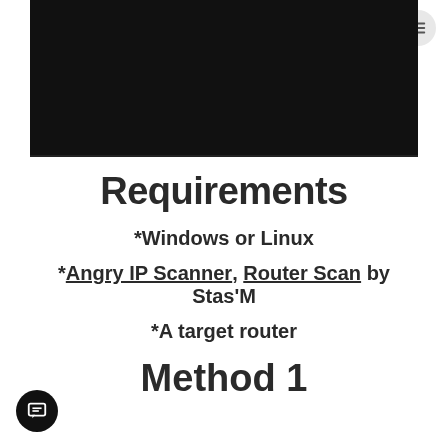[Figure (photo): Black banner image area at the top of the page]
Requirements
*Windows or Linux
*Angry IP Scanner, Router Scan by Stas'M
*A target router
Method 1